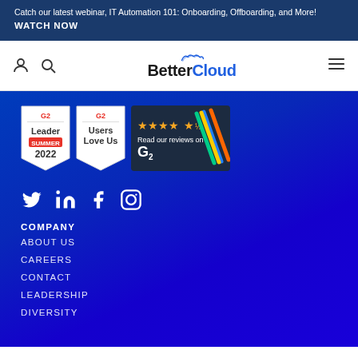Catch our latest webinar, IT Automation 101: Onboarding, Offboarding, and More! WATCH NOW
[Figure (logo): BetterCloud logo with navigation icons (user, search, hamburger menu)]
[Figure (infographic): Three badges: G2 Leader Summer 2022, G2 Users Love Us, and Read our reviews on G2 with star rating and colorful diagonal stripes]
[Figure (infographic): Social media icons: Twitter, LinkedIn, Facebook, Instagram in white on blue background]
COMPANY
ABOUT US
CAREERS
CONTACT
LEADERSHIP
DIVERSITY